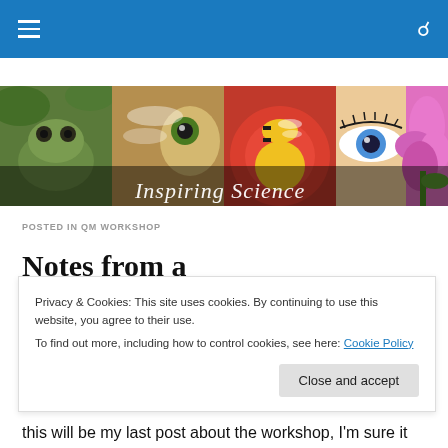Navigation bar with hamburger menu and search icon
[Figure (illustration): Inspiring Science banner collage showing a frog, dragonfly, bee on flower, close-up of blue eye, and pink flower, with 'Inspiring Science' text overlay in white cursive script]
POSTED IN QM WORKSHOP
Notes from a quantum
Privacy & Cookies: This site uses cookies. By continuing to use this website, you agree to their use.
To find out more, including how to control cookies, see here: Cookie Policy
Close and accept
this will be my last post about the workshop, I'm sure it